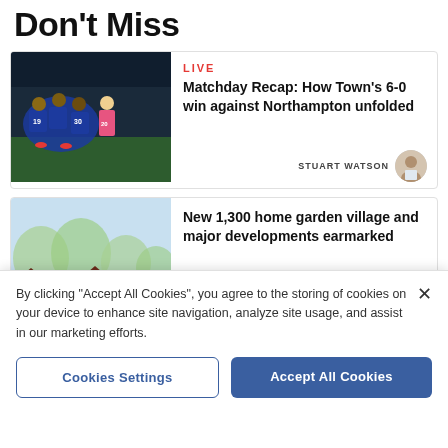Don't Miss
[Figure (photo): Football players in blue jerseys celebrating on a pitch, one player in pink goalkeeper kit visible]
LIVE
Matchday Recap: How Town's 6-0 win against Northampton unfolded
STUART WATSON
[Figure (photo): Architectural rendering of a garden village development with trees and brick houses]
New 1,300 home garden village and major developments earmarked
By clicking "Accept All Cookies", you agree to the storing of cookies on your device to enhance site navigation, analyze site usage, and assist in our marketing efforts.
Cookies Settings
Accept All Cookies